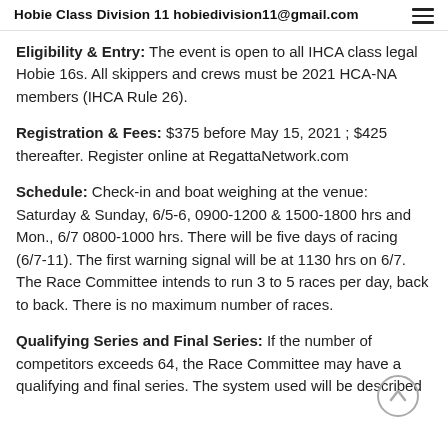Hobie Class Division 11 hobiedivision11@gmail.com
Eligibility & Entry: The event is open to all IHCA class legal Hobie 16s. All skippers and crews must be 2021 HCA-NA members (IHCA Rule 26).
Registration & Fees: $375 before May 15, 2021 ; $425 thereafter. Register online at RegattaNetwork.com
Schedule: Check-in and boat weighing at the venue: Saturday & Sunday, 6/5-6, 0900-1200 & 1500-1800 hrs and Mon., 6/7 0800-1000 hrs. There will be five days of racing (6/7-11). The first warning signal will be at 1130 hrs on 6/7. The Race Committee intends to run 3 to 5 races per day, back to back. There is no maximum number of races.
Qualifying Series and Final Series: If the number of competitors exceeds 64, the Race Committee may have a qualifying and final series. The system used will be described